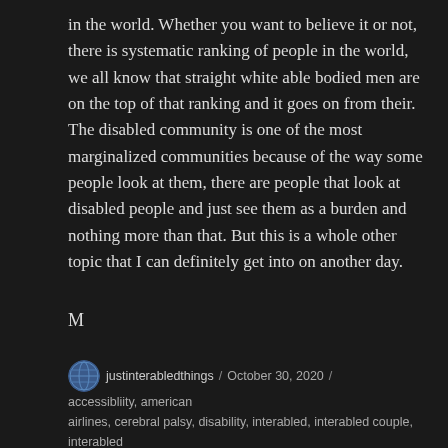in the world. Whether you want to believe it or not, there is systematic ranking of people in the world, we all know that straight white able bodied men are on the top of that ranking and it goes on from their. The disabled community is one of the most marginalized communities because of the way some people look at them, there are people that look at disabled people and just see them as a burden and nothing more than that. But this is a whole other topic that I can definitely get into on another day.
M
justinterabledthings / October 30, 2020 / accessibliity, american airlines, cerebral palsy, disability, interabled, interabled couple, interabled love, interabled relationship, relationship, scoliosis, travel, trip / 1 Comment